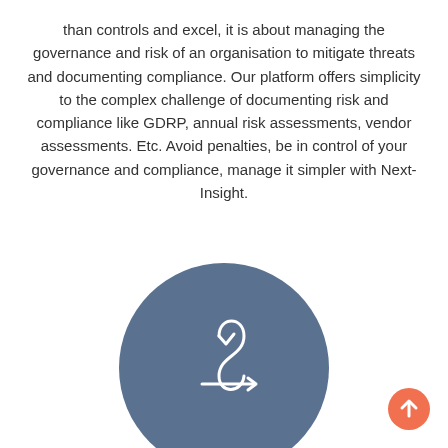than controls and excel, it is about managing the governance and risk of an organisation to mitigate threats and documenting compliance. Our platform offers simplicity to the complex challenge of documenting risk and compliance like GDRP, annual risk assessments, vendor assessments. Etc. Avoid penalties, be in control of your governance and compliance, manage it simpler with Next-Insight.
[Figure (illustration): A large dark steel-blue circle with a white recycling/refresh arrows icon (curved arrows forming a cycle with a rightward arrow at the bottom) centered within it. In the bottom-right corner there is a small orange circle with a white upward arrow.]